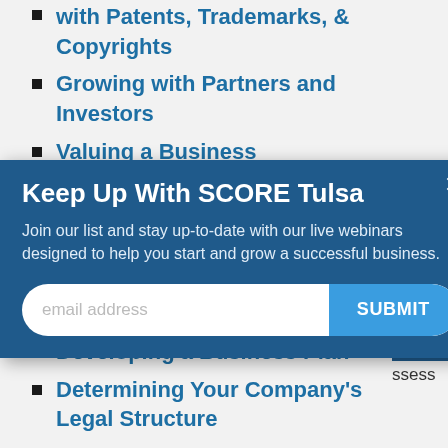with Patents, Trademarks, & Copyrights
Growing with Partners and Investors
Valuing a Business
[Figure (screenshot): Modal popup overlay titled 'Keep Up With SCORE Tulsa' with subtitle text 'Join our list and stay up-to-date with our live webinars designed to help you start and grow a successful business.' and an email address input field with a SUBMIT button. A close (x) button appears in the top-right corner.]
Developing a Business Plan
Determining Your Company's Legal Structure